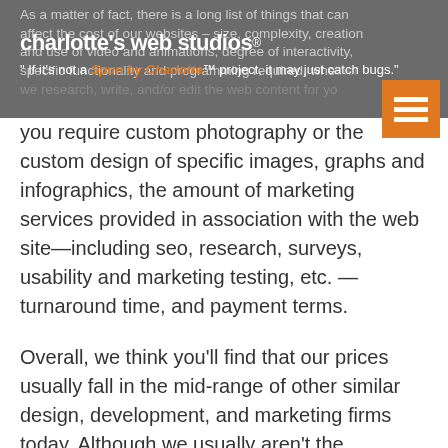As a matter of fact, there is a long list of things that can affect the cost of our websites – size, complexity, creation and use of video and animations, degree of interactivity, specific functionality and programming required, whether we research, write, and/or edit the web content for you, if you require custom photography or the custom design of specific images, graphs and infographics, the amount of marketing services provided in association with the web site—including seo, research, surveys, usability and marketing testing, etc. —turnaround time, and payment terms.
Overall, we think you’ll find that our prices usually fall in the mid-range of other similar design, development, and marketing firms today. Although we usually aren't the cheapest, our prices are almost never in the range of the most expensive design firms out there either.